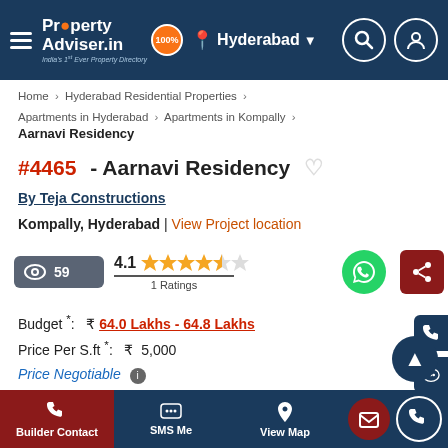PropertyAdviser.in | Hyderabad
Home > Hyderabad Residential Properties > Apartments in Hyderabad > Apartments in Kompally
Aarnavi Residency
#4465 - Aarnavi Residency
By Teja Constructions
Kompally, Hyderabad | View Project location
59 views | 4.1 rating | 1 Ratings
Budget *: ₹ 64.0 Lakhs - 64.8 Lakhs
Price Per S.ft *: ₹ 5,000
Price Negotiable
Builder Contact | SMS Me | View Map